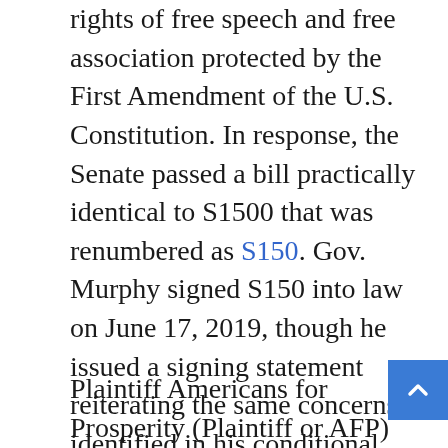rights of free speech and free association protected by the First Amendment of the U.S. Constitution. In response, the Senate passed a bill practically identical to S1500 that was renumbered as S150. Gov. Murphy signed S150 into law on June 17, 2019, though he issued a signing statement reiterating the same concerns identified in his conditional veto of the prior bill.
Plaintiff Americans for Prosperity (Plaintiff or AFP) filed suit on June 25, 2019, seeking a “declaration that S150’s provisions compelling disclosure of donor information and compliance with its burdensome reporting requirements violates the First Amendment (as incorporated by the Fourteenth Amendment).